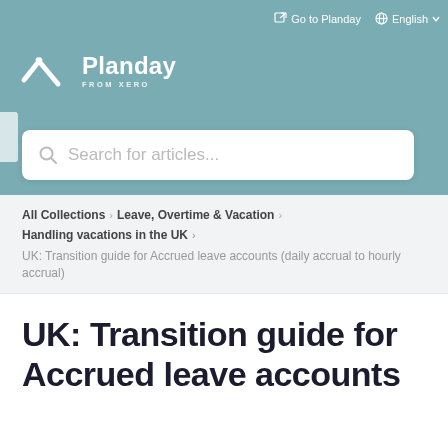Go to Planday   English
[Figure (logo): Planday from Xero logo with stylized P/checkmark in white on teal background]
[Figure (screenshot): Search bar with placeholder text 'Search for articles...']
All Collections > Leave, Overtime & Vacation > Handling vacations in the UK >
UK: Transition guide for Accrued leave accounts (daily accrual to hourly accrual)
UK: Transition guide for Accrued leave accounts